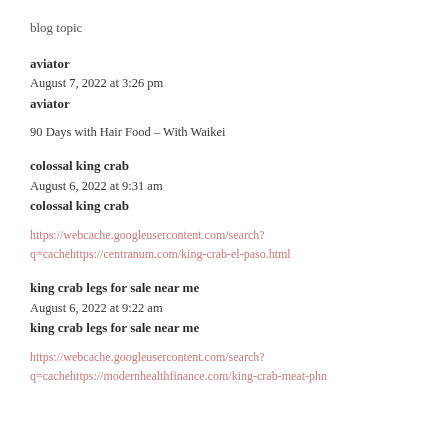blog topic
aviator
August 7, 2022 at 3:26 pm
aviator
90 Days with Hair Food – With Waikei
colossal king crab
August 6, 2022 at 9:31 am
colossal king crab
https://webcache.googleusercontent.com/search?q=cachehttps://centranum.com/king-crab-el-paso.html
king crab legs for sale near me
August 6, 2022 at 9:22 am
king crab legs for sale near me
https://webcache.googleusercontent.com/search?q=cachehttps://modernhealthfinance.com/king-crab-meat-phn